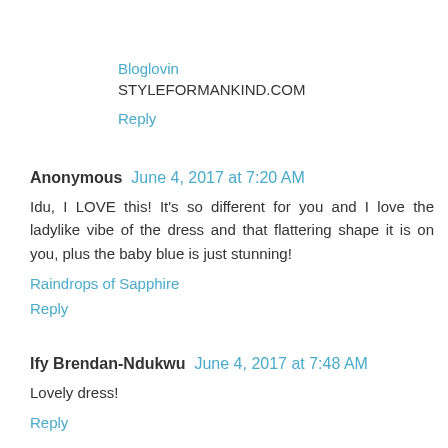Bloglovin
STYLEFORMANKIND.COM
Reply
Anonymous June 4, 2017 at 7:20 AM
Idu, I LOVE this! It's so different for you and I love the ladylike vibe of the dress and that flattering shape it is on you, plus the baby blue is just stunning!
Raindrops of Sapphire
Reply
Ify Brendan-Ndukwu June 4, 2017 at 7:48 AM
Lovely dress!
Reply